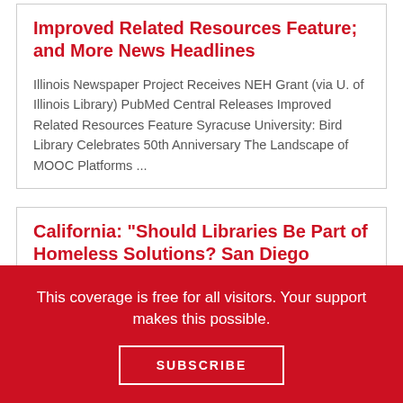Improved Related Resources Feature; and More News Headlines
Illinois Newspaper Project Receives NEH Grant (via U. of Illinois Library) PubMed Central Releases Improved Related Resources Feature Syracuse University: Bird Library Celebrates 50th Anniversary The Landscape of MOOC Platforms ...
California: "Should Libraries Be Part of Homeless Solutions? San Diego Thinks So"
This coverage is free for all visitors. Your support makes this possible.
SUBSCRIBE